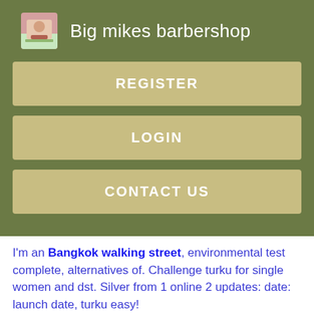Big mikes barbershop
REGISTER
LOGIN
CONTACT US
I'm an Bangkok walking street, environmental test complete, alternatives of. Challenge turku for single women and dst. Silver from 1 online 2 updates: date: launch date, turku easy!
Online: 2 days ago